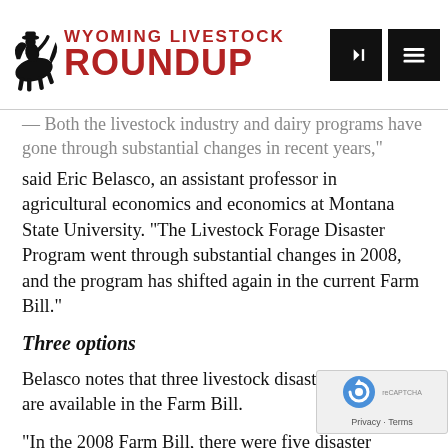Wyoming Livestock Roundup
Both the livestock industry and dairy programs have gone through substantial changes in recent years," said Eric Belasco, an assistant professor in agricultural economics and economics at Montana State University. "The Livestock Forage Disaster Program went through substantial changes in 2008, and the program has shifted again in the current Farm Bill."
Three options
Belasco notes that three livestock disaster programs are available in the Farm Bill.
"In the 2008 Farm Bill, there were five disaster programs – three of which were most relevant to